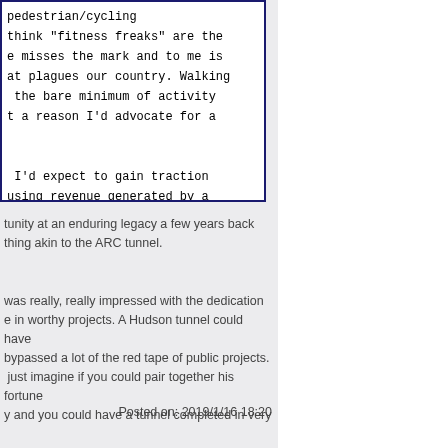pedestrian/cycling
think "fitness freaks" are the
e misses the mark and to me is
at plagues our country. Walking
 the bare minimum of activity
t a reason I'd advocate for a


 I'd expect to gain traction
using revenue generated by a
ealm of possible, were those
tunity at an enduring legacy a few years back
thing akin to the ARC tunnel.
was really, really impressed with the dedication
e in worthy projects. A Hudson tunnel could have
bypassed a lot of the red tape of public projects.
 just imagine if you could pair together his fortune
y and you could have a tunnel completed in very
Posted on: 2019/1/16 18:20